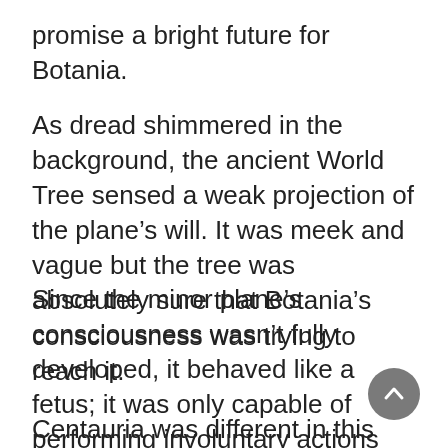promise a bright future for Botania.
As dread shimmered in the background, the ancient World Tree sensed a weak projection of the plane’s will. It was meek and vague but the tree was absolutely sure that Botania’s consciousness was trying to reach it.
Since the minor plane’s consciousness wasn’t fully developed, it behaved like a fetus; it was only capable of performing involuntary actions and lacked judgement.
Centauria was different in this aspect. When